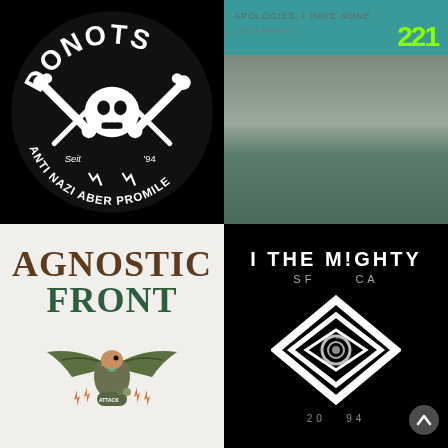[Figure (logo): DONOTS band logo with skull and crossbones, 'ANTI NAZI ABER PROMILE', 'Seit 94', black background, white illustration]
[Figure (illustration): Top right: teal banner with '221' graffiti text in green, below is 'Apologies, I Have None / Luca Brasi' text over a grey landscape/pond photo]
[Figure (logo): Agnostic Front band logo with eagle holding bomb, text 'AGNOSTIC FRONT', light textured background]
[Figure (logo): I THE MIGHTY band logo, 'SF CA', geometric diamond/eye spiral logo in black and white, black background, '20 94' at bottom]